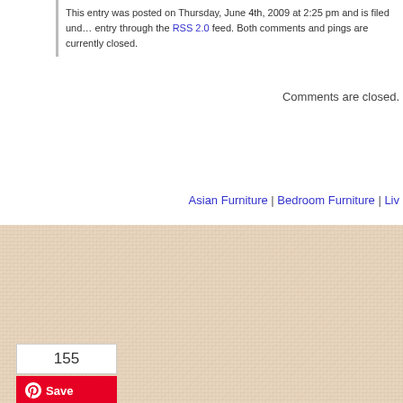This entry was posted on Thursday, June 4th, 2009 at 2:25 pm and is filed und... entry through the RSS 2.0 feed. Both comments and pings are currently closed.
Comments are closed.
Asian Furniture | Bedroom Furniture | Liv...
[Figure (photo): Linen/fabric texture background in beige/tan color]
155
Save